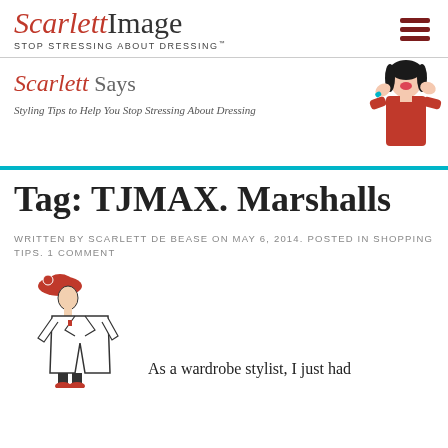Scarlett Image — STOP STRESSING ABOUT DRESSING
[Figure (logo): Scarlett Says banner with woman in red dress shouting, subtitle: Styling Tips to Help You Stop Stressing About Dressing]
Tag: TJMAX. Marshalls
WRITTEN BY SCARLETT DE BEASE ON MAY 6, 2014. POSTED IN SHOPPING TIPS. 1 COMMENT
[Figure (illustration): Fashion illustration of a woman in red hat and red dress, line art style]
As a wardrobe stylist, I just had